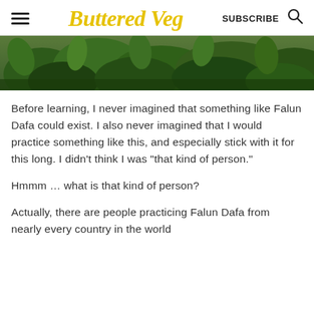Buttered Veg | SUBSCRIBE
[Figure (photo): Cropped photo of green leafy plants and ferns, used as a hero/banner image on the blog page.]
Before learning, I never imagined that something like Falun Dafa could exist. I also never imagined that I would practice something like this, and especially stick with it for this long. I didn't think I was "that kind of person."
Hmmm … what is that kind of person?
Actually, there are people practicing Falun Dafa from nearly every country in the world